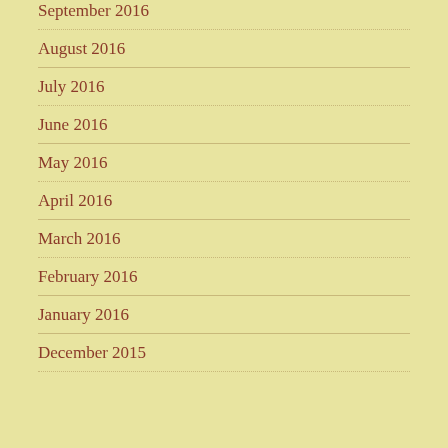September 2016
August 2016
July 2016
June 2016
May 2016
April 2016
March 2016
February 2016
January 2016
December 2015